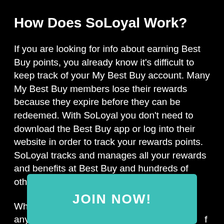How Does SoLoyal Work?
If you are looking for info about earning Best Buy points, you already know it's difficult to keep track of your My Best Buy account. Many My Best Buy members lose their rewards because they expire before they can be redeemed. With SoLoyal you don't need to download the Best Buy app or log into their website in order to track your rewards points. SoLoyal tracks and manages all your rewards and benefits at Best Buy and hundreds of other brands.
When you purchase Peripheral items or any ... onics & GPS ... f there a ... nefits that are available and then applies
[Figure (other): Teal/green button overlay with text 'JOIN NOW!' in bold white capital letters]